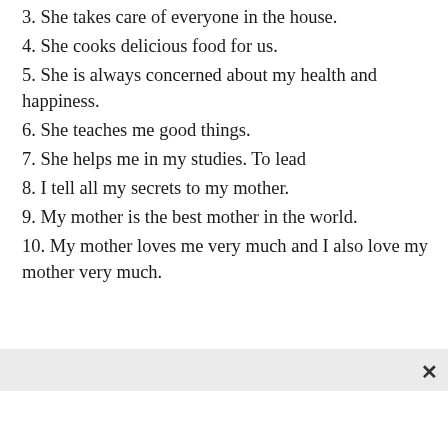3. She takes care of everyone in the house.
4. She cooks delicious food for us.
5. She is always concerned about my health and happiness.
6. She teaches me good things.
7. She helps me in my studies. To lead
8. I tell all my secrets to my mother.
9. My mother is the best mother in the world.
10. My mother loves me very much and I also love my mother very much.